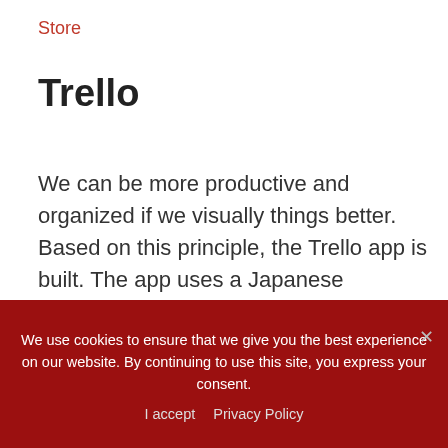Store
Trello
We can be more productive and organized if we visually things better. Based on this principle, the Trello app is built. The app uses a Japanese technique named kanban to manage the project better.
Trello allows you to break down big projects
We use cookies to ensure that we give you the best experience on our website. By continuing to use this site, you express your consent.
I accept   Privacy Policy